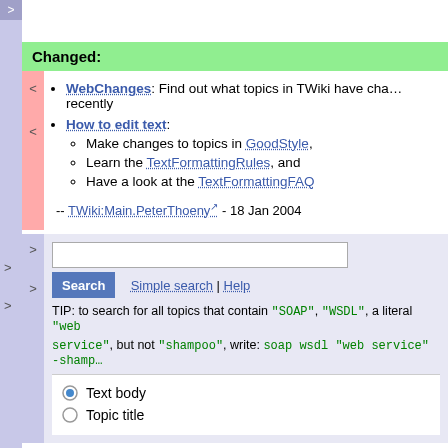Changed:
WebChanges: Find out what topics in TWiki have changed recently
How to edit text: Make changes to topics in GoodStyle, Learn the TextFormattingRules, and Have a look at the TextFormattingFAQ
-- TWiki:Main.PeterThoeny - 18 Jan 2004
TIP: to search for all topics that contain "SOAP", "WSDL", a literal "web service", but not "shampoo", write: soap wsdl "web service" -shampoo
Text body
Topic title